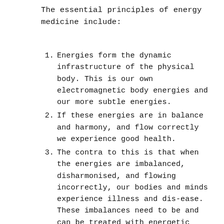The essential principles of energy medicine include:
Energies form the dynamic infrastructure of the physical body. This is our own electromagnetic body energies and our more subtle energies.
If these energies are in balance and harmony, and flow correctly we experience good health.
The contra to this is that when the energies are imbalanced, disharmonised, and flowing incorrectly, our bodies and minds experience illness and dis-ease. These imbalances need to be and can be treated with energetic medicine.
To overcome ill-health and imbalance, our body energies must be able to: